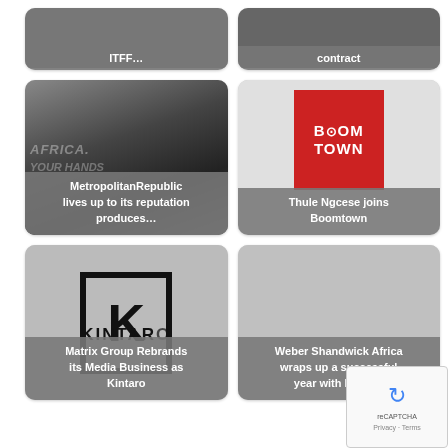[Figure (photo): Partially visible card with gray image and text overlay 'ITFF...']
[Figure (photo): Partially visible card with gray photo and text overlay 'contract']
[Figure (photo): Black and white photo of elderly man with text overlay 'MetropolitanRepublic lives up to its reputation produces...']
[Figure (logo): Boomtown red logo card with text overlay 'Thule Ngcese joins Boomtown']
[Figure (logo): Kintaro K logo card with text overlay 'Matrix Group Rebrands its Media Business as Kintaro']
[Figure (photo): Light gray card with text overlay 'Weber Shandwick Africa wraps up a successful year with Level...']